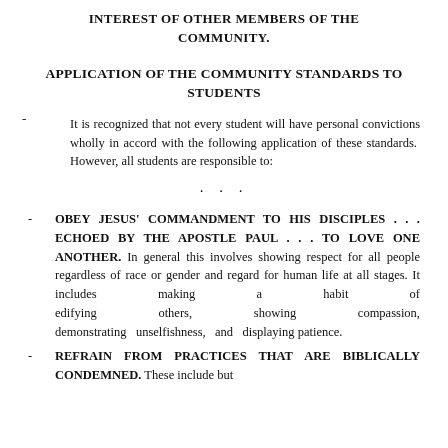INTEREST OF OTHER MEMBERS OF THE COMMUNITY.
APPLICATION OF THE COMMUNITY STANDARDS TO STUDENTS
It is recognized that not every student will have personal convictions wholly in accord with the following application of these standards.  However, all students are responsible to:
...
- OBEY JESUS’ COMMANDMENT TO HIS DISCIPLES . . . ECHOED BY THE APOSTLE PAUL . . . TO LOVE ONE ANOTHER. In general this involves showing respect for all people regardless of race or gender and regard for human life at all stages. It includes making a habit of edifying others, showing compassion, demonstrating unselfishness, and displaying patience.
- REFRAIN FROM PRACTICES THAT ARE BIBLICALLY CONDEMNED. These include but